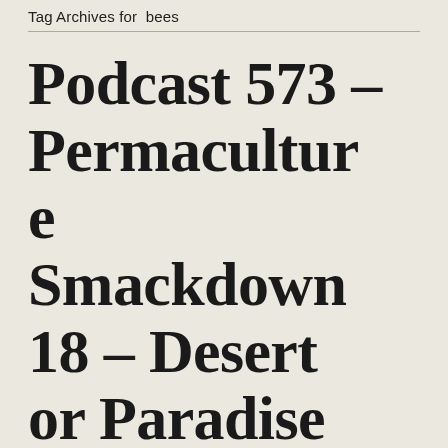Tag Archives for  bees
Podcast 573 – Permaculture Smackdown 18 – Desert or Paradise